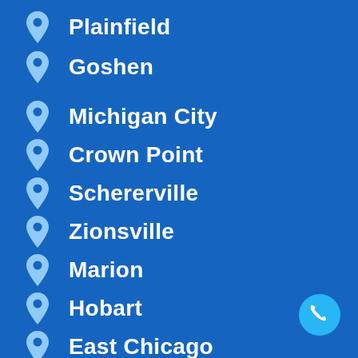Plainfield
Goshen
Michigan City
Crown Point
Schererville
Zionsville
Marion
Hobart
East Chicago
Rover...